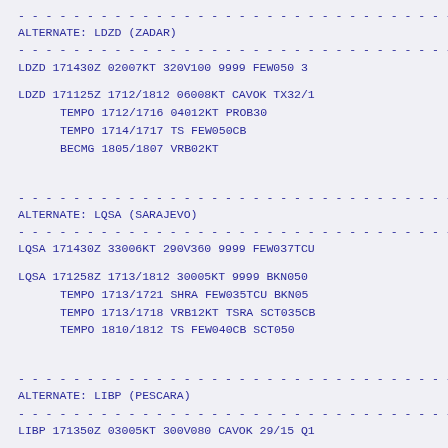- - - - - - - - - - - - - - - - - - - - - - - - - - - - - - - - - - - - - - - -
ALTERNATE: LDZD (ZADAR)
- - - - - - - - - - - - - - - - - - - - - - - - - - - - - - - - - - - - - - - -
LDZD 171430Z 02007KT 320V100 9999 FEW050 30...
LDZD 171125Z 1712/1812 06008KT CAVOK TX32/1...
      TEMPO 1712/1716 04012KT PROB30
      TEMPO 1714/1717 TS FEW050CB
      BECMG 1805/1807 VRB02KT
- - - - - - - - - - - - - - - - - - - - - - - - - - - - - - - - - - - - - - - -
ALTERNATE: LQSA (SARAJEVO)
- - - - - - - - - - - - - - - - - - - - - - - - - - - - - - - - - - - - - - - -
LQSA 171430Z 33006KT 290V360 9999 FEW037TCU...
LQSA 171258Z 1713/1812 30005KT 9999 BKN050...
      TEMPO 1713/1721 SHRA FEW035TCU BKN050...
      TEMPO 1713/1718 VRB12KT TSRA SCT035CB...
      TEMPO 1810/1812 TS FEW040CB SCT050
- - - - - - - - - - - - - - - - - - - - - - - - - - - - - - - - - - - - - - - -
ALTERNATE: LIBP (PESCARA)
- - - - - - - - - - - - - - - - - - - - - - - - - - - - - - - - - - - - - - - -
LIBP 171350Z 03005KT 300V080 CAVOK 29/15 Q1...